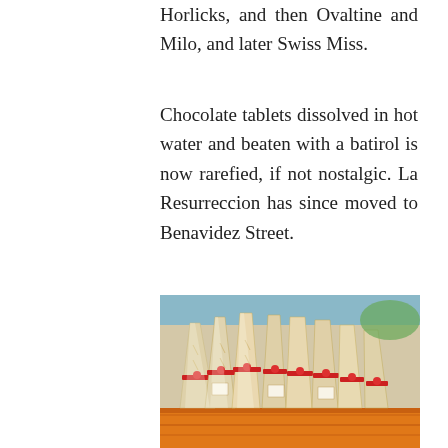Horlicks, and then Ovaltine and Milo, and later Swiss Miss.
Chocolate tablets dissolved in hot water and beaten with a batirol is now rarefied, if not nostalgic. La Resurreccion has since moved to Benavidez Street.
[Figure (photo): A photograph of batirol (traditional Filipino chocolate stirrers/whisks) packaged in clear cellophane and tied with red ribbons, displayed in an orange crate or basket.]